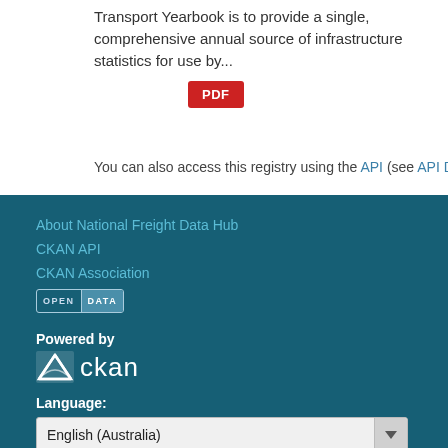Transport Yearbook is to provide a single, comprehensive annual source of infrastructure statistics for use by...
[Figure (other): Red PDF badge button]
You can also access this registry using the API (see API Docs).
About National Freight Data Hub
CKAN API
CKAN Association
[Figure (logo): Open Data badge with two-tone styling]
Powered by
[Figure (logo): CKAN logo with envelope icon and ckan wordmark]
Language:
English (Australia)